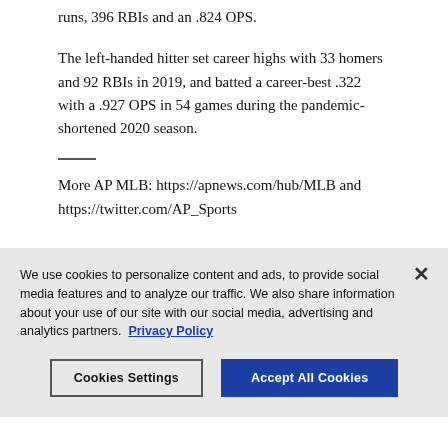runs, 396 RBIs and an .824 OPS.
The left-handed hitter set career highs with 33 homers and 92 RBIs in 2019, and batted a career-best .322 with a .927 OPS in 54 games during the pandemic-shortened 2020 season.
More AP MLB: https://apnews.com/hub/MLB and https://twitter.com/AP_Sports
We use cookies to personalize content and ads, to provide social media features and to analyze our traffic. We also share information about your use of our site with our social media, advertising and analytics partners. Privacy Policy